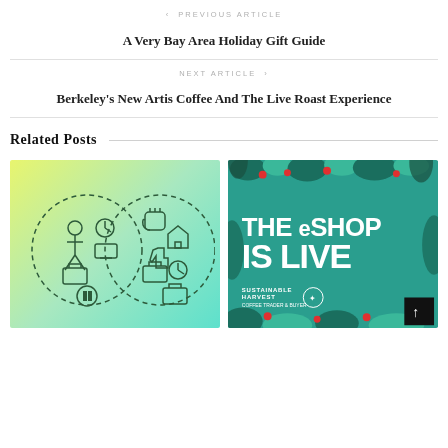< PREVIOUS ARTICLE
A Very Bay Area Holiday Gift Guide
NEXT ARTICLE >
Berkeley's New Artis Coffee And The Live Roast Experience
Related Posts
[Figure (illustration): Two circular dashed icons on a yellow-to-mint gradient background, depicting work-life balance concepts with figures, clocks, briefcases, and hand gestures]
[Figure (illustration): Teal background with decorative foliage, coffee cherries and plants. Large white bold text reads 'THE eSHOP IS LIVE'. Sustainable Harvest logo at bottom left. Black scroll button at bottom right.]